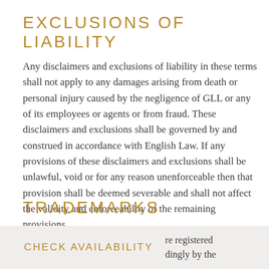EXCLUSIONS OF LIABILITY
Any disclaimers and exclusions of liability in these terms shall not apply to any damages arising from death or personal injury caused by the negligence of GLL or any of its employees or agents or from fraud. These disclaimers and exclusions shall be governed by and construed in accordance with English Law. If any provisions of these disclaimers and exclusions shall be unlawful, void or for any reason unenforceable then that provision shall be deemed severable and shall not affect the validity and enforceability of the remaining provisions.
TRADEMARKS
re registered
dingly by the